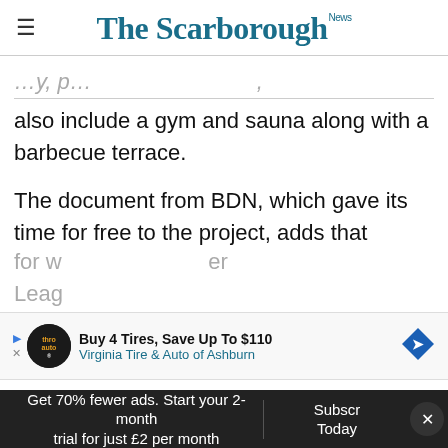The Scarborough News
also include a gym and sauna along with a barbecue terrace.
The document from BDN, which gave its time for free to the project, adds that Scarborough was Bradley's “favourite place to visit” and that funding for the home has come from a number of sources including football clubs Sunderland,
for w[...] er Leag[...]
[Figure (other): Advertisement banner: Buy 4 Tires, Save Up To $110 - Virginia Tire & Auto of Ashburn]
Get 70% fewer ads. Start your 2-month trial for just £2 per month
Subscribe Today